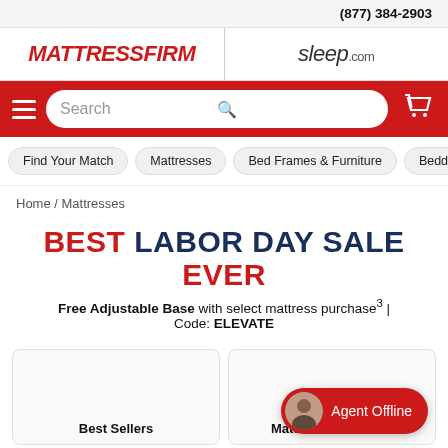(877) 384-2903
[Figure (logo): Mattress Firm logo (red italic bold text) and sleep.com logo side by side]
[Figure (screenshot): Red navigation bar with hamburger menu, search box, and cart icon]
Find Your Match
Mattresses
Bed Frames & Furniture
Bedd...
Home / Mattresses
BEST LABOR DAY SALE EVER
Free Adjustable Base with select mattress purchase³ | Code: ELEVATE
Best Sellers
Mattresses in a Box
Agent Offline